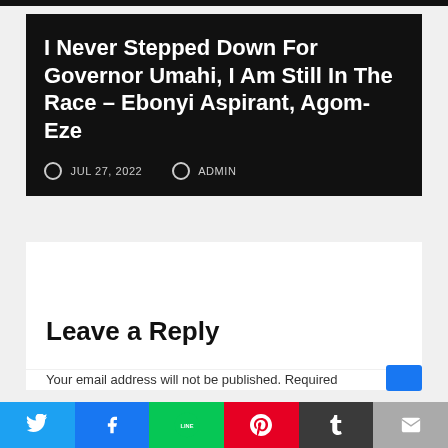I Never Stepped Down For Governor Umahi, I Am Still In The Race – Ebonyi Aspirant, Agom-Eze
JUL 27, 2022   ADMIN
Leave a Reply
Your email address will not be published. Required